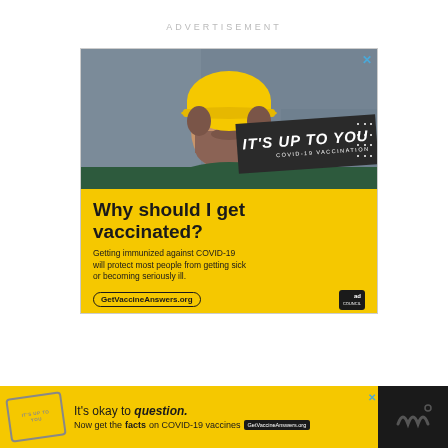ADVERTISEMENT
[Figure (infographic): COVID-19 vaccination advertisement banner. Top half shows a bearded man wearing a yellow hard hat and safety glasses in an industrial setting. A dark diagonal banner overlaid reads 'IT'S UP TO YOU' with subtext 'COVID-19 VACCINATION'. Bottom yellow section contains text 'Why should I get vaccinated? Getting immunized against COVID-19 will protect most people from getting sick or becoming seriously ill.' with URL GetVaccineAnswers.org and Ad Council logo.]
Why should I get vaccinated?
Getting immunized against COVID-19 will protect most people from getting sick or becoming seriously ill.
GetVaccineAnswers.org
[Figure (infographic): Bottom banner ad in yellow and dark background. Shows a stamp-like badge, text 'It's okay to question.' and 'Now get the facts on COVID-19 vaccines' with GetVaccineAnswers.org pill button. Dark right section with stylized W logo.]